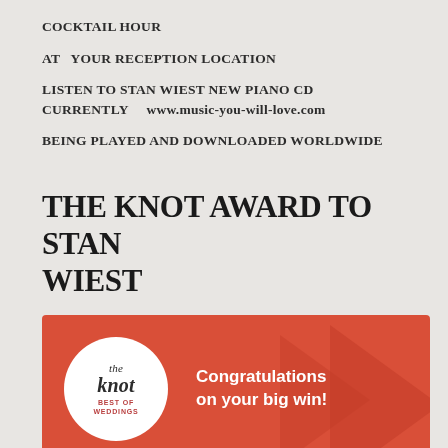COCKTAIL HOUR
AT   YOUR RECEPTION LOCATION
LISTEN TO STAN WIEST NEW PIANO CD
CURRENTLY    www.music-you-will-love.com
BEING PLAYED AND DOWNLOADED WORLDWIDE
THE KNOT AWARD TO STAN WIEST
[Figure (infographic): The Knot Best of Weddings award banner on red background with circular white logo on left reading 'the knot BEST OF WEDDINGS' and text on right reading 'Congratulations on your big win!']